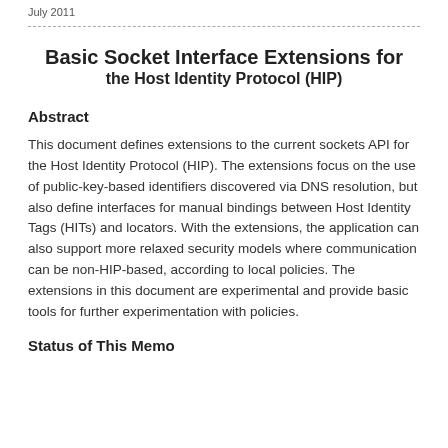July 2011
Basic Socket Interface Extensions for the Host Identity Protocol (HIP)
Abstract
This document defines extensions to the current sockets API for the Host Identity Protocol (HIP). The extensions focus on the use of public-key-based identifiers discovered via DNS resolution, but also define interfaces for manual bindings between Host Identity Tags (HITs) and locators. With the extensions, the application can also support more relaxed security models where communication can be non-HIP-based, according to local policies. The extensions in this document are experimental and provide basic tools for further experimentation with policies.
Status of This Memo